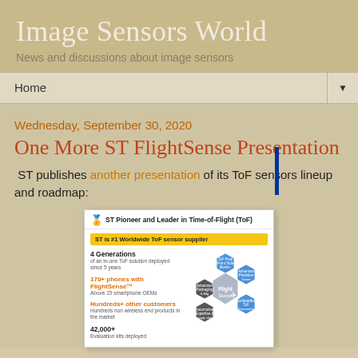Image Sensors World
News and discussions about image sensors
Home
Wednesday, September 30, 2020
One More ST FlightSense Presentation
ST publishes another presentation of its ToF sensors lineup and roadmap:
[Figure (infographic): ST Pioneer and Leader in Time-of-Flight (ToF) slide showing ST is #1 Worldwide ToF sensor supplier, 4 Generations, 170+ phones with FlightSense, Hundreds+ other customers, 42,000+ evaluation kits deployed, with hexagonal FlightSense diagram on right]